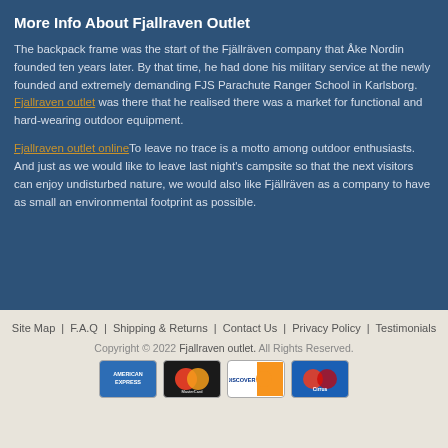More Info About Fjallraven Outlet
The backpack frame was the start of the Fjällräven company that Åke Nordin founded ten years later. By that time, he had done his military service at the newly founded and extremely demanding FJS Parachute Ranger School in Karlsborg. Fjallraven outlet was there that he realised there was a market for functional and hard-wearing outdoor equipment.
Fjallraven outlet onlineTo leave no trace is a motto among outdoor enthusiasts. And just as we would like to leave last night's campsite so that the next visitors can enjoy undisturbed nature, we would also like Fjällräven as a company to have as small an environmental footprint as possible.
Site Map | F.A.Q | Shipping & Returns | Contact Us | Privacy Policy | Testimonials
Copyright © 2022 Fjallraven outlet. All Rights Reserved.
[Figure (other): Payment method icons: American Express, MasterCard, Discover, Cirrus]